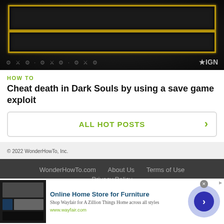[Figure (screenshot): Dark Souls game screenshot showing golden framed UI elements against dark background, with IGN logo watermark]
HOW TO
Cheat death in Dark Souls by using a save game exploit
ALL HOT POSTS
© 2022 WonderHowTo, Inc.
WonderHowTo.com   About Us   Terms of Use   Privacy Policy
Don't Miss:
Online Home Store for Furniture
Shop Wayfair for A Zillion Things Home across all styles
www.wayfair.com